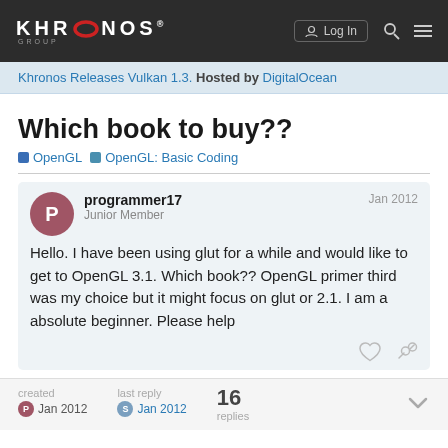KHRONOS GROUP
Khronos Releases Vulkan 1.3. Hosted by DigitalOcean
Which book to buy??
OpenGL  OpenGL: Basic Coding
programmer17
Junior Member
Jan 2012
Hello. I have been using glut for a while and would like to get to OpenGL 3.1. Which book?? OpenGL primer third was my choice but it might focus on glut or 2.1. I am a absolute beginner. Please help
created Jan 2012  last reply Jan 2012  16 replies